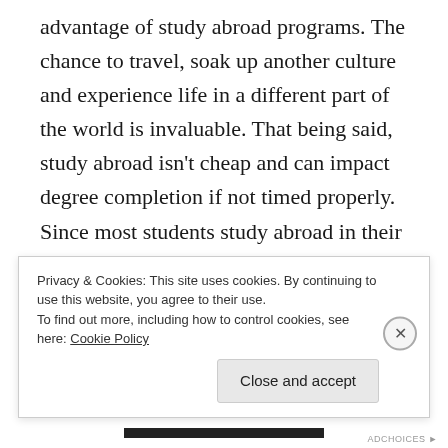advantage of study abroad programs. The chance to travel, soak up another culture and experience life in a different part of the world is invaluable. That being said, study abroad isn't cheap and can impact degree completion if not timed properly. Since most students study abroad in their junior or senior year, your family has a couple of years to get ready.
What to do now If your child even thinks they might want to study abroad, they should talk with their academic advisor now to plan their course schedules and know whether any summer classes will be
Privacy & Cookies: This site uses cookies. By continuing to use this website, you agree to their use.
To find out more, including how to control cookies, see here: Cookie Policy
Close and accept